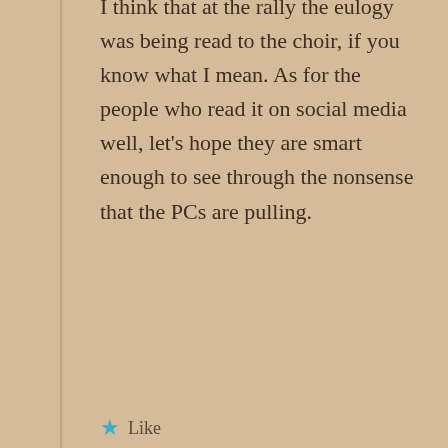I think that at the rally the eulogy was being read to the choir, if you know what I mean. As for the people who read it on social media well, let's hope they are smart enough to see through the nonsense that the PCs are pulling.
★ Like
↳ Reply
Leave a Reply
Your email address will not be published. Required fields are marked *
Comment *